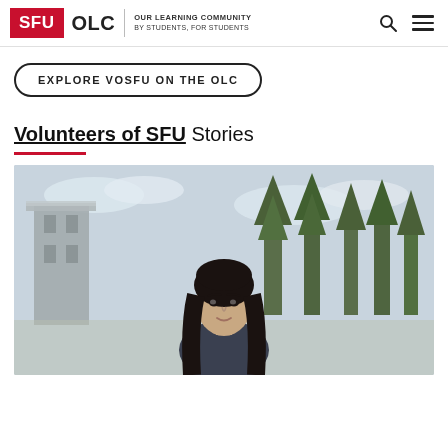SFU OLC | OUR LEARNING COMMUNITY BY STUDENTS, FOR STUDENTS
EXPLORE VOSFU ON THE OLC
Volunteers of SFU Stories
[Figure (photo): A young woman with long dark hair standing outdoors on the SFU campus with concrete buildings and evergreen trees in the background under a partly cloudy sky.]